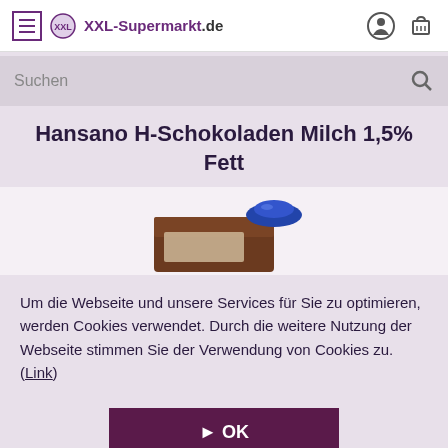XXL-Supermarkt.de
Suchen
Hansano H-Schokoladen Milch 1,5% Fett
[Figure (photo): Product photo of Hansano H-Schokoladen Milch 1,5% Fett — a brown carton with a blue cap, partially visible]
Um die Webseite und unsere Services für Sie zu optimieren, werden Cookies verwendet. Durch die weitere Nutzung der Webseite stimmen Sie der Verwendung von Cookies zu. (Link)
▶ OK